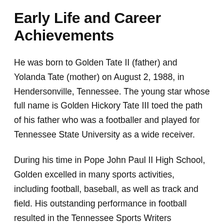Early Life and Career Achievements
He was born to Golden Tate II (father) and Yolanda Tate (mother) on August 2, 1988, in Hendersonville, Tennessee. The young star whose full name is Golden Hickory Tate III toed the path of his father who was a footballer and played for Tennessee State University as a wide receiver.
During his time in Pope John Paul II High School, Golden excelled in many sports activities, including football, baseball, as well as track and field. His outstanding performance in football resulted in the Tennessee Sports Writers Association and the